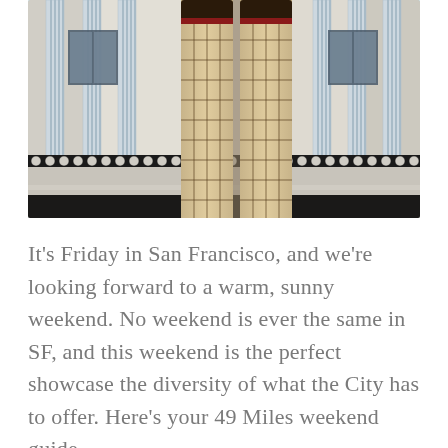[Figure (photo): Upward-angle photo of a white Victorian-style building facade with blue-white fluted columns and decorative beadwork trim. Centered in the image are two large sculptural legs wearing checkered stockings, mounted on the building exterior. The photo is taken from below looking up.]
It's Friday in San Francisco, and we're looking forward to a warm, sunny weekend. No weekend is ever the same in SF, and this weekend is the perfect showcase the diversity of what the City has to offer. Here's your 49 Miles weekend guide.